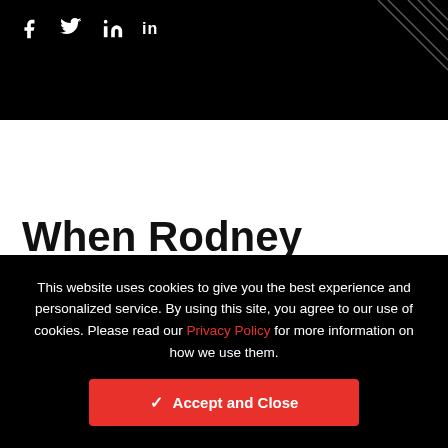[Figure (other): Social media icons (Facebook, Twitter, LinkedIn) in white on black background with decorative diagonal lines]
When Rodney Hudson officially decided to
This website uses cookies to give you the best experience and personalized service. By using this site, you agree to our use of cookies. Please read our Privacy Policy for more information on how we use them.
Accept and Close